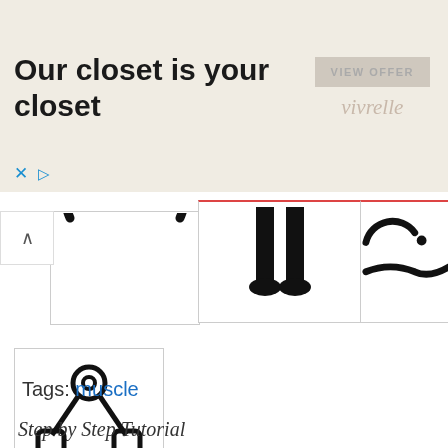[Figure (illustration): Advertisement banner for Vivrelle with text 'Our closet is your closet', a VIEW OFFER button, and vivrelle branding]
[Figure (illustration): Partial circular ring icon - bottom portion visible]
[Figure (illustration): Silhouette of human legs/feet standing]
[Figure (illustration): Curved line/scroll icon partial view]
[Figure (illustration): Hand grip exerciser / grip strength tool icon - black line drawing showing two handles connected by a spring/pivot mechanism]
Tags: muscle